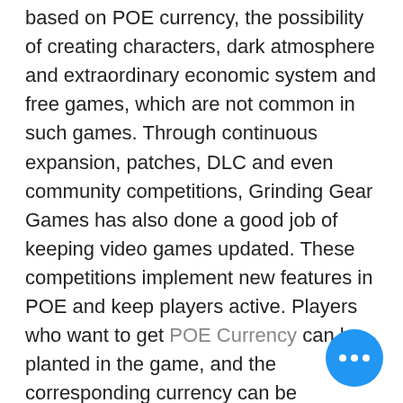based on POE currency, the possibility of creating characters, dark atmosphere and extraordinary economic system and free games, which are not common in such games. Through continuous expansion, patches, DLC and even community competitions, Grinding Gear Games has also done a good job of keeping video games updated. These competitions implement new features in POE and keep players active. Players who want to get POE Currency can be planted in the game, and the corresponding currency can be obtained by completing different tasks and challenges.

It has to be said that this method has been abandoned by many players because they don't have enough energy to grow currency. POE Orbs on the POECurrency website has gradually become the mainstream. As a reliable operator, POECurrency obtains a large amount of